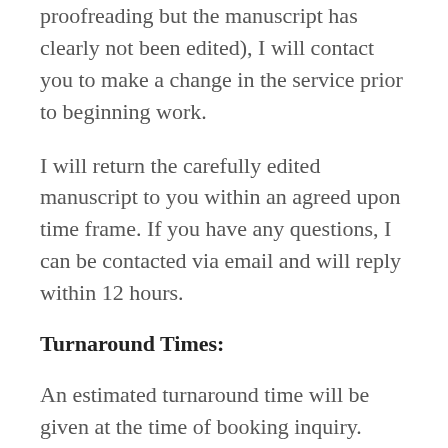proofreading but the manuscript has clearly not been edited), I will contact you to make a change in the service prior to beginning work.
I will return the carefully edited manuscript to you within an agreed upon time frame. If you have any questions, I can be contacted via email and will reply within 12 hours.
Turnaround Times:
An estimated turnaround time will be given at the time of booking inquiry. Turnaround times depend